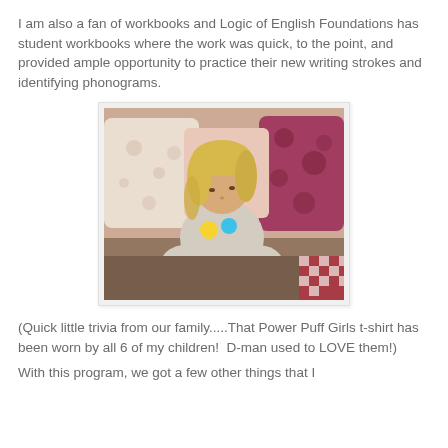I am also a fan of workbooks and Logic of English Foundations has student workbooks where the work was quick, to the point, and provided ample opportunity to practice their new writing strokes and identifying phonograms.
[Figure (photo): A young blonde girl sitting on a bed reading a large workbook. She is wearing a Power Puff Girls t-shirt. Behind her are pink and white floral/patterned pillows and bedding.]
(Quick little trivia from our family.....That Power Puff Girls t-shirt has been worn by all 6 of my children!  D-man used to LOVE them!)
With this program, we got a few other things that I